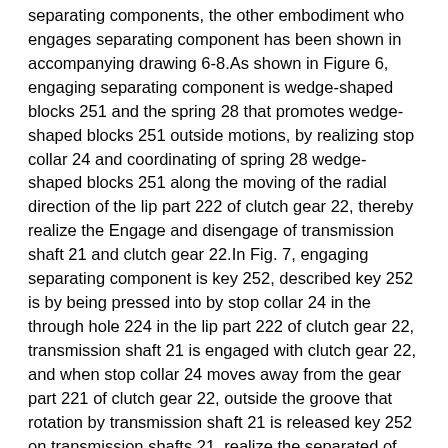separating components, the other embodiment who engages separating component has been shown in accompanying drawing 6-8.As shown in Figure 6, engaging separating component is wedge-shaped blocks 251 and the spring 28 that promotes wedge-shaped blocks 251 outside motions, by realizing stop collar 24 and coordinating of spring 28 wedge-shaped blocks 251 along the moving of the radial direction of the lip part 222 of clutch gear 22, thereby realize the Engage and disengage of transmission shaft 21 and clutch gear 22.In Fig. 7, engaging separating component is key 252, described key 252 is by being pressed into by stop collar 24 in the through hole 224 in the lip part 222 of clutch gear 22, transmission shaft 21 is engaged with clutch gear 22, and when stop collar 24 moves away from the gear part 221 of clutch gear 22, outside the groove that rotation by transmission shaft 21 is released key 252 on transmission shafts 21, realize the separated of transmission shaft 21 and clutch gear 22.As shown in Figure 8, by employing, sell parts 253 as clutch separating component, realize the Engage and disengage of transmission shaft 21 and clutch gear 22.The working principle of pin parts 253, to similar with reference to the working principle of key described in Fig. 7